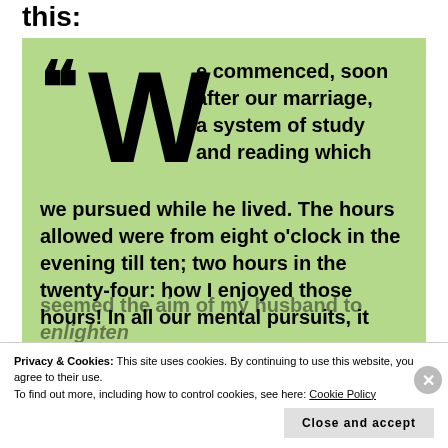this:
[Figure (illustration): Large pull-quote on green background with decorative opening quotation marks and drop-cap W. Text reads: 'We commenced, soon after our marriage, a system of study and reading which we pursued while he lived. The hours allowed were from eight o'clock in the evening till ten; two hours in the twenty-four: how I enjoyed those hours! In all our mental pursuits, it seemed the aim of my husband to enlighten']
Privacy & Cookies: This site uses cookies. By continuing to use this website, you agree to their use.
To find out more, including how to control cookies, see here: Cookie Policy
Close and accept